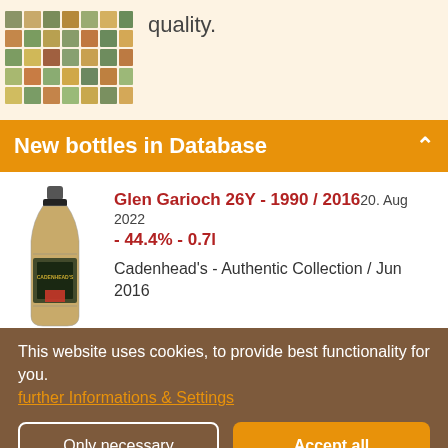[Figure (other): Grid of small whisky bottle thumbnail images on cream background]
quality.
New bottles in Database
[Figure (photo): Bottle of Glen Garioch whisky - Cadenhead's Authentic Collection]
Glen Garioch 26Y - 1990 / 2016 20. Aug 2022 - 44.4% - 0.7l
Cadenhead's - Authentic Collection / Jun 2016
This website uses cookies, to provide best functionality for you.
further Informations & Settings
Only necessary
Accept all
Legal Notice | About Us